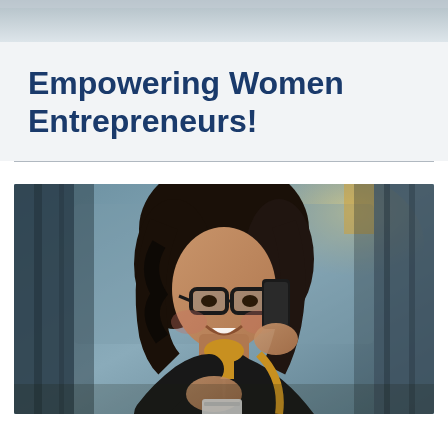[Figure (photo): Top strip showing a partial view of a background image, light blue-gray tones]
Empowering Women Entrepreneurs!
[Figure (photo): A smiling woman with dark wavy hair and glasses, wearing a black leather jacket over a mustard yellow top, talking on a smartphone while looking at something in her other hand. Background shows a blurred urban/office setting with glass and warm lights.]